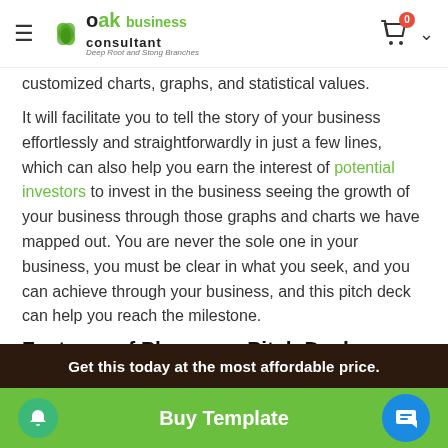OAK business consultant — hamburger menu, cart icon
customized charts, graphs, and statistical values.
It will facilitate you to tell the story of your business effortlessly and straightforwardly in just a few lines, which can also help you earn the interest of potential investors to invest in the business seeing the growth of your business through those graphs and charts we have mapped out. You are never the sole one in your business, you must be clear in what you seek, and you can achieve through your business, and this pitch deck can help you reach the milestone.
Features of Pharmacy Pitch Deck Template
Get this today at the most affordable price.
Buy Template